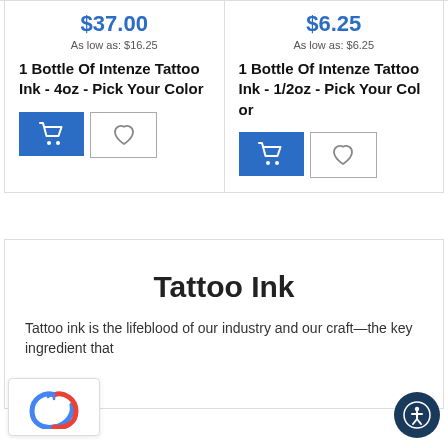$37.00
As low as: $16.25
1 Bottle Of Intenze Tattoo Ink - 4oz - Pick Your Color
$6.25
As low as: $6.25
1 Bottle Of Intenze Tattoo Ink - 1/2oz - Pick Your Color
Tattoo Ink
Tattoo ink is the lifeblood of our industry and our craft—the key ingredient that